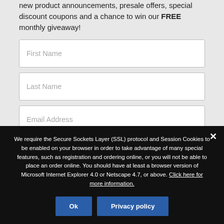new product announcements, presale offers, special discount coupons and a chance to win our FREE monthly giveaway!
[Figure (screenshot): Form fields for First Name, Last Name, and Email Address on a light grey background]
We require the Secure Sockets Layer (SSL) protocol and Session Cookies to be enabled on your browser in order to take advantage of many special features, such as registration and ordering online, or you will not be able to place an order online. You should have at least a browser version of Microsoft Internet Explorer 4.0 or Netscape 4.7, or above. Click here for more information.
Ok
Privacy policy